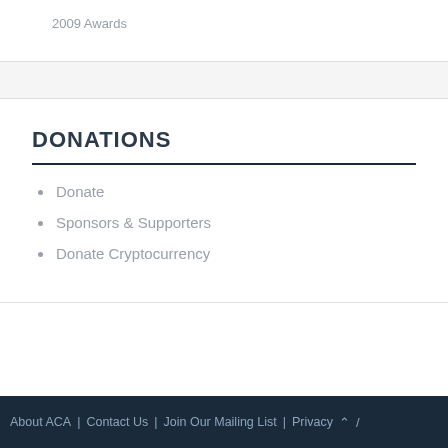2009 Awards
DONATIONS
Donate
Sponsors & Supporters
Donate Cryptocurrency
About ACA | Contact Us | Join Our Mailing List | Privacy ^  /